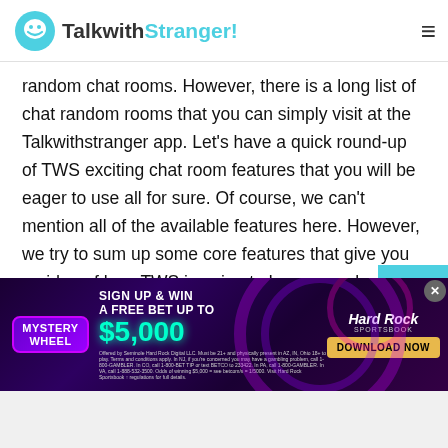TalkwithStranger!
random chat rooms. However, there is a long list of chat random rooms that you can simply visit at the Talkwithstranger app. Let's have a quick round-up of TWS exciting chat room features that you will be eager to use all for sure. Of course, we can't mention all of the available features here. However, we try to sum up some core features that give you an idea of how TWS is going to be so popular worldwide.
Text chat
[Figure (screenshot): Hard Rock Sportsbook advertisement banner: Mystery Wheel, Sign Up & Win a Free Bet Up To $5,000, Download Now button]